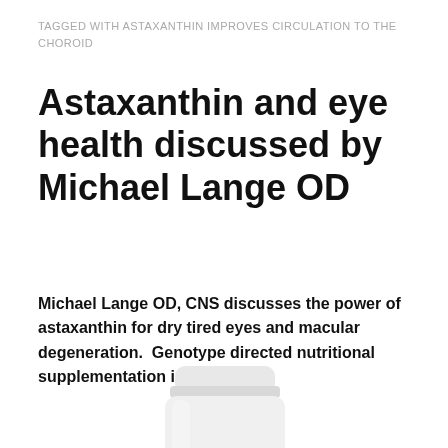TAGGED WITH ASTAXANTHIN IMPROVES CIRCULATION TO THE CHOROID
Astaxanthin and eye health discussed by Michael Lange OD
Michael Lange OD, CNS discusses the power of astaxanthin for dry tired eyes and macular degeneration.  Genotype directed nutritional supplementation is here!
[Figure (photo): A white supplement bottle with a green label, partially visible at the bottom of the page.]